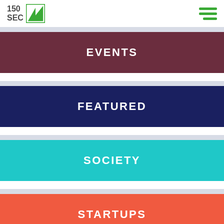150 SEC [logo]
EVENTS
FEATURED
SOCIETY
STARTUPS